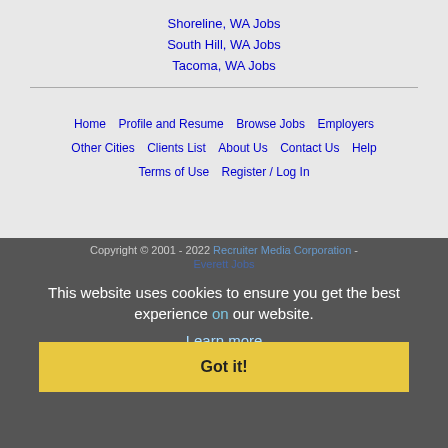Shoreline, WA Jobs
South Hill, WA Jobs
Tacoma, WA Jobs
Home | Profile and Resume | Browse Jobs | Employers | Other Cities | Clients List | About Us | Contact Us | Help | Terms of Use | Register / Log In
Copyright © 2001 - 2022 Recruiter Media Corporation - Everett Jobs
This website uses cookies to ensure you get the best experience on our website.
Learn more
Got it!